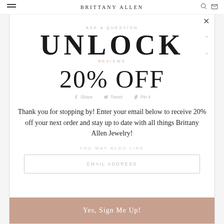BRITTANY ALLEN
UNLOCK
20% OFF
Thank you for stopping by! Enter your email below to receive 20% off your next order and stay up to date with all things Brittany Allen Jewelry!
EMAIL ADDRESS
Yes, Sign Me Up!